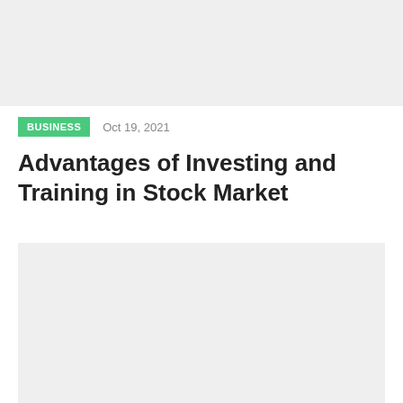[Figure (photo): Top image placeholder block — light gray rectangle]
BUSINESS   Oct 19, 2021
Advantages of Investing and Training in Stock Market
[Figure (photo): Bottom image placeholder block — light gray rectangle]